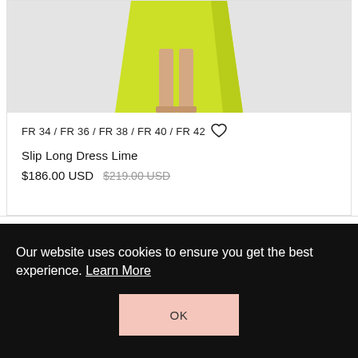[Figure (photo): Product photo of a lime green/yellow slip long dress, showing lower portion of the dress on a model with beige heels against a light grey background]
FR 34 / FR 36 / FR 38 / FR 40 / FR 42
Slip Long Dress Lime
$186.00 USD  $219.00 USD
Our website uses cookies to ensure you get the best experience. Learn More
OK